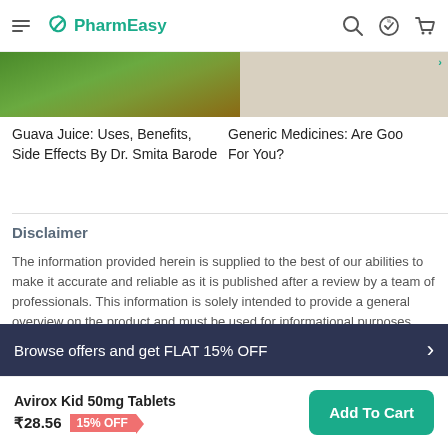PharmEasy
[Figure (photo): Cropped image of guava leaves/fruit in green and brown tones]
Guava Juice: Uses, Benefits, Side Effects By Dr. Smita Barode
Generic Medicines: Are Goo... For You?
Disclaimer
The information provided herein is supplied to the best of our abilities to make it accurate and reliable as it is published after a review by a team of professionals. This information is solely intended to provide a general overview on the product and must be used for informational purposes only. You should not use the information provided herein to diagnose, prevent, or cure a health problem. Nothing contained on this page is intended to create a doctor-patient relationship, replace or be a substitute for a registered medical practitioner's medical treatment/advice or consultation. The absence of any information at
Browse offers and get FLAT 15% OFF
Avirox Kid 50mg Tablets ₹28.56 15% OFF
Add To Cart